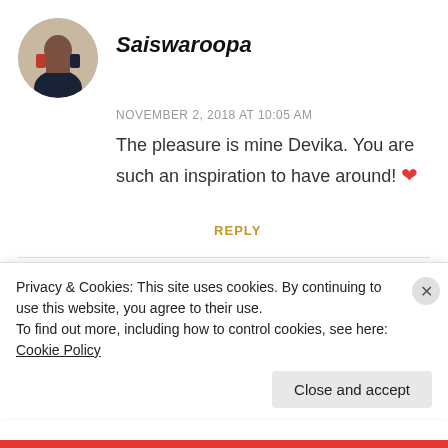[Figure (photo): Circular avatar photo of Saiswaroopa, a woman in a dark jacket with a red scarf, in a store setting]
Saiswaroopa
NOVEMBER 2, 2018 AT 10:05 AM
The pleasure is mine Devika. You are such an inspiration to have around! ❤
REPLY
[Figure (photo): Circular avatar photo of Reet Singh, a woman]
Reet Singh
Privacy & Cookies: This site uses cookies. By continuing to use this website, you agree to their use.
To find out more, including how to control cookies, see here: Cookie Policy
Close and accept